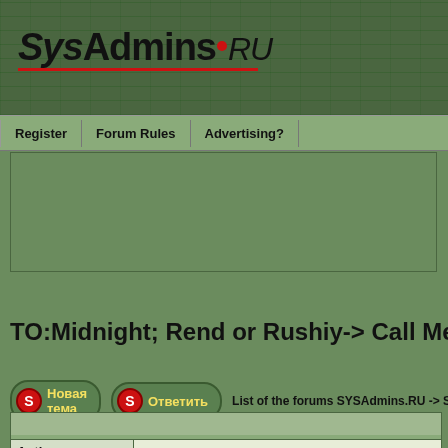[Figure (logo): SysAdmins.RU logo with italic Sys, bold Admins, red dot, and italic RU text on dark green background with matrix-style pattern]
Register | Forum Rules | Advertising?
[Figure (other): Advertisement banner placeholder area with green background and border]
TO:Midnight; Rend or Rushiy-> Call Me!
Новая тема   Ответить   List of the forums SYSAdmins.RU -> Sm...
| Author |  |
| --- | --- |